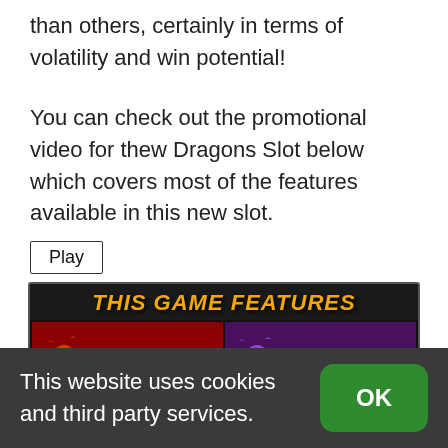than others, certainly in terms of volatility and win potential!
You can check out the promotional video for thew Dragons Slot below which covers most of the features available in this new slot.
Play
[Figure (illustration): Game features banner showing four dragon types: Flaming Wilds, Stashed Wilds, Frosty Wilds, Winning Wilds, each with a dragon character and WILD badge]
This website uses cookies and third party services.
OK